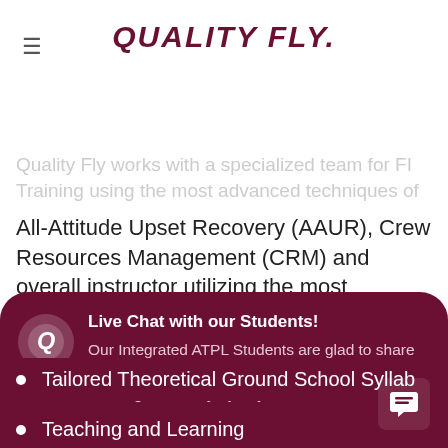QUALITY FLY.
school teacher or flight instructor and offer your knowledge and experience back to the industry.
Quality Fly works with a specialized team for FI Training using the most advanced techniques of All-Attitude Upset Recovery (AAUR), Crew Resources Management (CRM) and overall instructor utilizing the most advanced and varied t...
Live Chat with our Students!
Our Integrated ATPL Students are glad to share their experiences of Quality Fly. Leave your message and they'll join you on the chat asap!
Tailored Theoretical Ground School Syllab...
Teaching and Learning